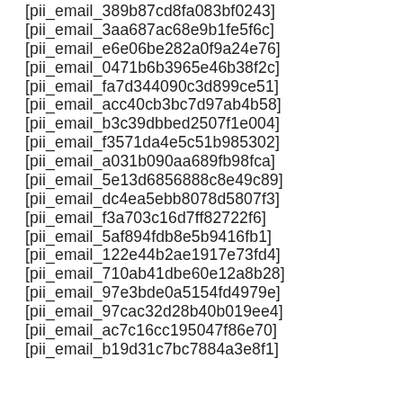[pii_email_389b87cd8fa083bf0243]
[pii_email_3aa687ac68e9b1fe5f6c]
[pii_email_e6e06be282a0f9a24e76]
[pii_email_0471b6b3965e46b38f2c]
[pii_email_fa7d344090c3d899ce51]
[pii_email_acc40cb3bc7d97ab4b58]
[pii_email_b3c39dbbed2507f1e004]
[pii_email_f3571da4e5c51b985302]
[pii_email_a031b090aa689fb98fca]
[pii_email_5e13d6856888c8e49c89]
[pii_email_dc4ea5ebb8078d5807f3]
[pii_email_f3a703c16d7ff82722f6]
[pii_email_5af894fdb8e5b9416fb1]
[pii_email_122e44b2ae1917e73fd4]
[pii_email_710ab41dbe60e12a8b28]
[pii_email_97e3bde0a5154fd4979e]
[pii_email_97cac32d28b40b019ee4]
[pii_email_ac7c16cc195047f86e70]
[pii_email_b19d31c7bc7884a3e8f1]